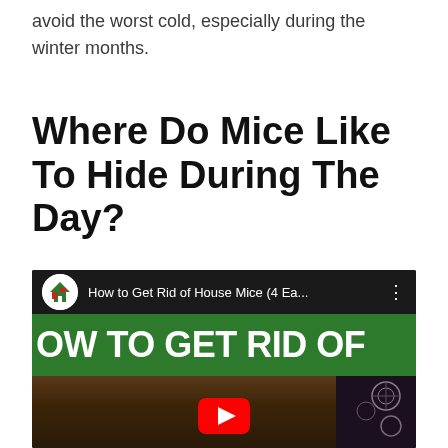avoid the worst cold, especially during the winter months.
Where Do Mice Like To Hide During The Day?
[Figure (screenshot): YouTube video thumbnail showing 'How to Get Rid of House Mice (4 Ea...' with a green banner reading 'OW TO GET RID OF' and a YouTube play button, over a dark background with a wooden surface.]